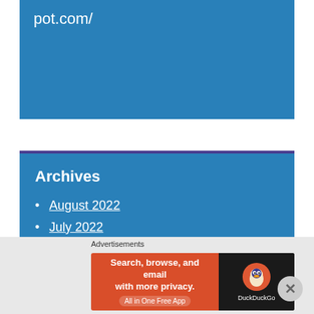pot.com/
Archives
August 2022
July 2022
June 2022
May 2022
April 2022
March 2022
Advertisements
[Figure (infographic): DuckDuckGo advertisement banner: Search, browse, and email with more privacy. All in One Free App. DuckDuckGo logo on dark right panel.]